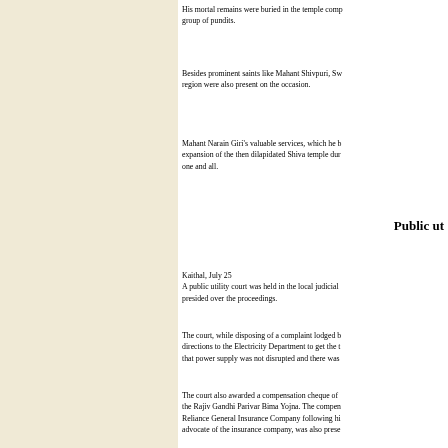His mortal remains were buried in the temple comp group of pundits.
Besides prominent saints like Mahant Shivpuri, Sw region were also present on the occasion.
Mahant Narain Giri's valuable services, which he expansion of the then dilapidated Shiva temple dur one and all.
Public ut
Kaithal, July 25
A public utility court was held in the local judicial presided over the proceedings.
The court, while disposing of a complaint lodged b directions to the Electricity Department to get the t that power supply was not disrupted and there was
The court also awarded a compensation cheque of the Rajiv Gandhi Parivar Bima Yojna. The compen Reliance General Insurance Company following hi advocate of the insurance company, was also prese